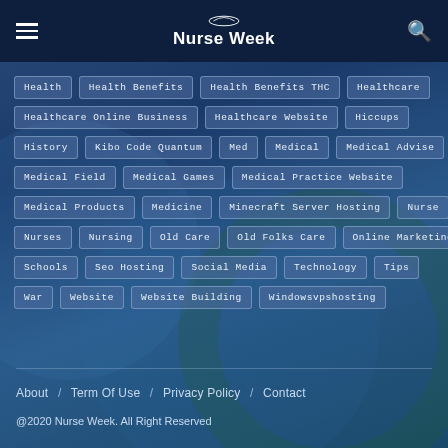Nurse Week
Health
Health Benefits
Health Benefits THC
Healthcare
Healthcare Online Business
Healthcare Website
Hiccups
History
Kibo Code Quantum
Med
Medical
Medical Advise
Medical Field
Medical Games
Medical Practice Website
Medical Products
Medicine
Minecraft Server Hosting
Nurse
Nurses
Nursing
Old Care
Old Folks Care
Online Marketing
Schools
Seo Hosting
Social Media
Technology
Tips
War
Website
Website Building
Windowsvpshosting
About / Term Of Use / Privacy Policy / Contact
@2020 Nurse Week. All Right Reserved